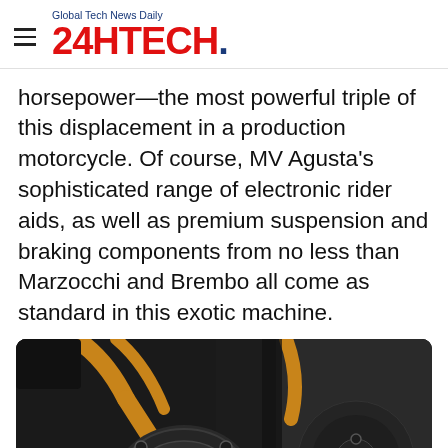Global Tech News Daily 24HTECH.
horsepower—the most powerful triple of this displacement in a production motorcycle. Of course, MV Agusta's sophisticated range of electronic rider aids, as well as premium suspension and braking components from no less than Marzocchi and Brembo all come as standard in this exotic machine.
[Figure (photo): Close-up photo of a motorcycle engine with gold/bronze tubular frame visible and a circular black engine casing, dark background with bokeh blur on right side.]